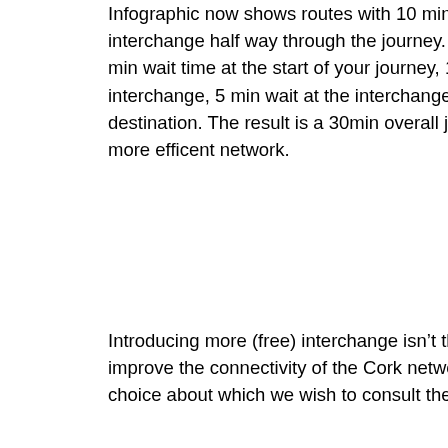Infographic now shows routes with 10 min frequency with an interchange half way through the journey. The result is a 5 min wait time at the start of your journey, 10 min ride to interchange, 5 min wait at the interchange and 10 min ride to destination. The result is a 30min overall journey time and a more efficent network.
Introducing more (free) interchange isn't the only way to improve the connectivity of the Cork network, but it is a choice about which we wish to consult the public.
Other changes can improve access and shorten peoples' journeys, by allowing more routes to work together in a